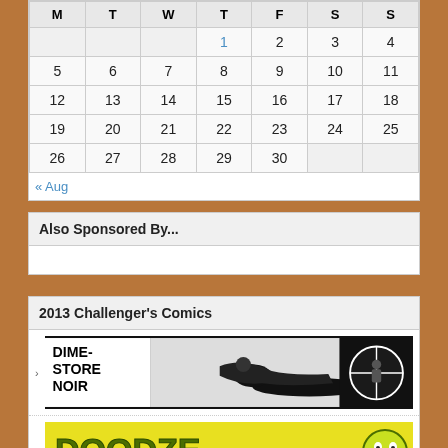| M | T | W | T | F | S | S |
| --- | --- | --- | --- | --- | --- | --- |
|  |  |  | 1 | 2 | 3 | 4 |
| 5 | 6 | 7 | 8 | 9 | 10 | 11 |
| 12 | 13 | 14 | 15 | 16 | 17 | 18 |
| 19 | 20 | 21 | 22 | 23 | 24 | 25 |
| 26 | 27 | 28 | 29 | 30 |  |  |
« Aug
Also Sponsored By...
2013 Challenger's Comics
[Figure (illustration): Dime-Store Noir comic book cover with noir action scene]
[Figure (illustration): Doodze comic with yellow cartoon character]